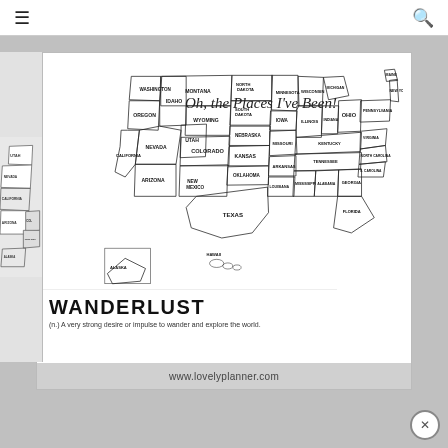≡  🔍
[Figure (map): US states map titled 'Oh, the Places I've Been!' showing all 50 states with labels, alongside a partial zoomed view of western states. Black and white outline style travel tracker map.]
WANDERLUST
(n.) A very strong desire or impulse to wander and explore the world.
www.lovelyplanner.com